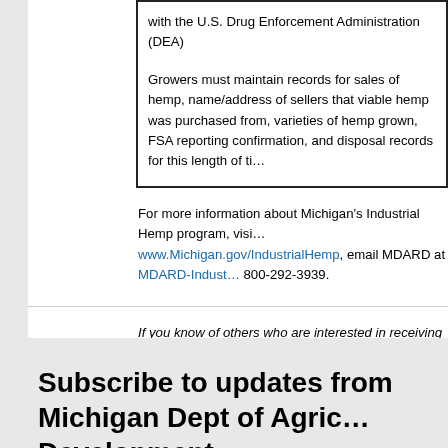with the U.S. Drug Enforcement Administration (DEA)
Growers must maintain records for sales of hemp, name/address of sellers that viable hemp was purchased from, varieties of hemp grown, FSA reporting confirmation, and disposal records for this length of time
For more information about Michigan's Industrial Hemp program, visit www.Michigan.gov/IndustrialHemp, email MDARD at MDARD-Indust... 800-292-3939.
If you know of others who are interested in receiving industrial hemp updates, direct them to www.michigan.gov/industrialhemp; there is an enrollment link there.
Please do not reply to this email as it is for outgoing messages only.
Subscribe to updates from Michigan Dept of Agriculture & Rural Development